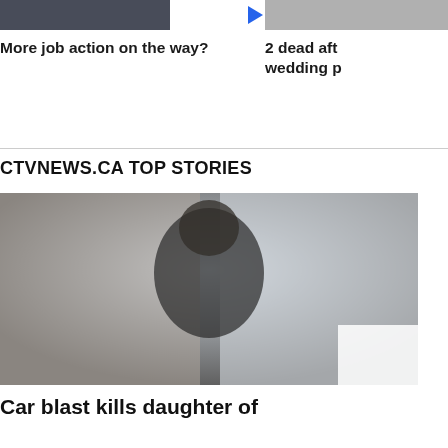[Figure (photo): Cropped top portion of a news article image on the left side]
[Figure (photo): Cropped top portion of a second news article image on the right side]
More job action on the way?
2 dead aft wedding p
CTVNEWS.CA TOP STORIES
[Figure (photo): A bearded man in a dark suit sitting indoors, slightly blurred background with windows]
Car blast kills daughter of